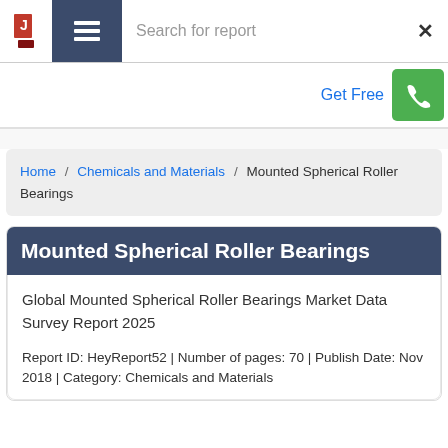Search for report
Get Free
Home / Chemicals and Materials / Mounted Spherical Roller Bearings
Mounted Spherical Roller Bearings
Global Mounted Spherical Roller Bearings Market Data Survey Report 2025
Report ID: HeyReport52 | Number of pages: 70 | Publish Date: Nov 2018 | Category: Chemicals and Materials